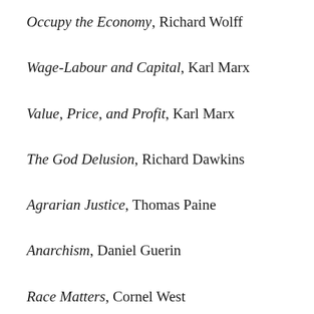Occupy the Economy, Richard Wolff
Wage-Labour and Capital, Karl Marx
Value, Price, and Profit, Karl Marx
The God Delusion, Richard Dawkins
Agrarian Justice, Thomas Paine
Anarchism, Daniel Guerin
Race Matters, Cornel West